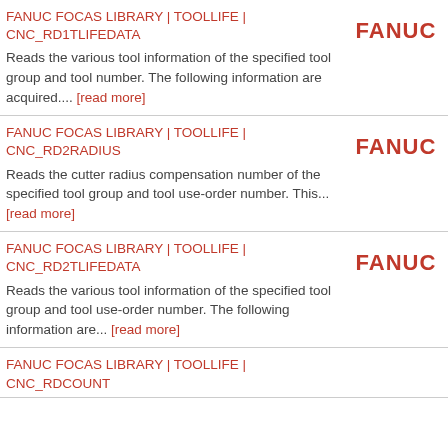FANUC FOCAS LIBRARY | TOOLLIFE | CNC_RD1TLIFEDATA
Reads the various tool information of the specified tool group and tool number. The following information are acquired.... [read more]
FANUC FOCAS LIBRARY | TOOLLIFE | CNC_RD2RADIUS
Reads the cutter radius compensation number of the specified tool group and tool use-order number. This... [read more]
FANUC FOCAS LIBRARY | TOOLLIFE | CNC_RD2TLIFEDATA
Reads the various tool information of the specified tool group and tool use-order number. The following information are... [read more]
FANUC FOCAS LIBRARY | TOOLLIFE | CNC_RDCOUNT